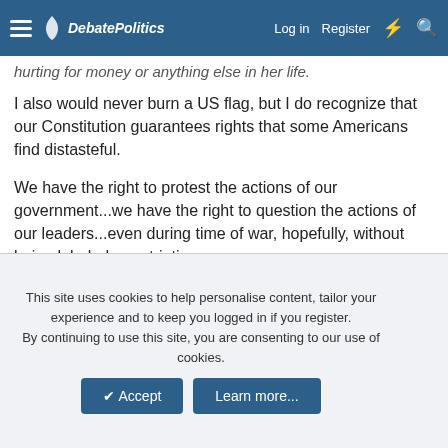DebatePolitics | Log in | Register
hurting for money or anything else in her life.
I also would never burn a US flag, but I do recognize that our Constitution guarantees rights that some Americans find distasteful.
We have the right to protest the actions of our government...we have the right to question the actions of our leaders...even during time of war, hopefully, without being labeled unpatriotic.
Jane stepped over the line when she visited the enemy, and she has apologized for this...perhaps 30 years too late, but she refuses to apologize for protesting the Vietnam war...that's her right as an American.
This site uses cookies to help personalise content, tailor your experience and to keep you logged in if you register. By continuing to use this site, you are consenting to our use of cookies.